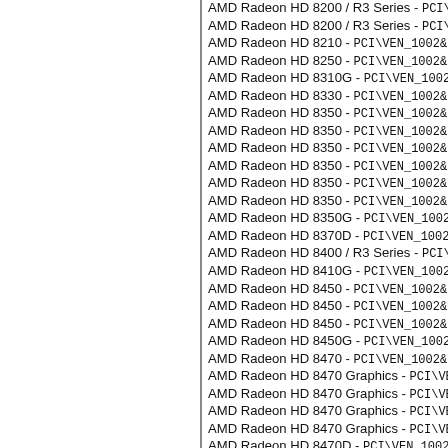AMD Radeon HD 8200 / R3 Series - PCI\VEN_1002&DE...
AMD Radeon HD 8200 / R3 Series - PCI\VEN_1002&DE...
AMD Radeon HD 8210 - PCI\VEN_1002&DE...
AMD Radeon HD 8250 - PCI\VEN_1002&DE...
AMD Radeon HD 8310G - PCI\VEN_1002&D...
AMD Radeon HD 8330 - PCI\VEN_1002&DE...
AMD Radeon HD 8350 - PCI\VEN_1002&DE...
AMD Radeon HD 8350 - PCI\VEN_1002&DE...
AMD Radeon HD 8350 - PCI\VEN_1002&DE...
AMD Radeon HD 8350 - PCI\VEN_1002&DE...
AMD Radeon HD 8350 - PCI\VEN_1002&DE...
AMD Radeon HD 8350 - PCI\VEN_1002&DE...
AMD Radeon HD 8350G - PCI\VEN_1002&D...
AMD Radeon HD 8370D - PCI\VEN_1002&D...
AMD Radeon HD 8400 / R3 Series - PCI\VE...
AMD Radeon HD 8410G - PCI\VEN_1002&D...
AMD Radeon HD 8450 - PCI\VEN_1002&DE...
AMD Radeon HD 8450 - PCI\VEN_1002&DE...
AMD Radeon HD 8450 - PCI\VEN_1002&DE...
AMD Radeon HD 8450G - PCI\VEN_1002&D...
AMD Radeon HD 8470 - PCI\VEN_1002&DE...
AMD Radeon HD 8470 Graphics - PCI\VEN...
AMD Radeon HD 8470 Graphics - PCI\VEN...
AMD Radeon HD 8470 Graphics - PCI\VEN...
AMD Radeon HD 8470 Graphics - PCI\VEN...
AMD Radeon HD 8470D - PCI\VEN_1002&D...
AMD Radeon HD 8490 - PCI\VEN_1002&DE...
AMD Radeon HD 8500M - PCI\VEN_1002&D...
AMD Radeon HD 8500M Series - PCI\VEN_...
AMD Radeon HD 8500M/8700M - PCI\VEN...
AMD Radeon HD 8510 - PCI\VEN_1002&DE...
AMD Radeon HD 8510 - PCI\VEN_1002&DE...
AMD Radeon HD 8510 - PCI\VEN_1002&DE...